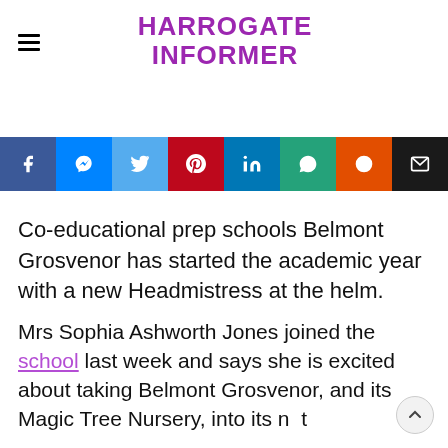HARROGATE INFORMER
[Figure (other): Social sharing buttons bar with icons for Facebook, Messenger, Twitter, Pinterest, LinkedIn, WhatsApp, Reddit, and Email]
Co-educational prep schools Belmont Grosvenor has started the academic year with a new Headmistress at the helm.
Mrs Sophia Ashworth Jones joined the school last week and says she is excited about taking Belmont Grosvenor, and its Magic Tree Nursery, into its next chapter.